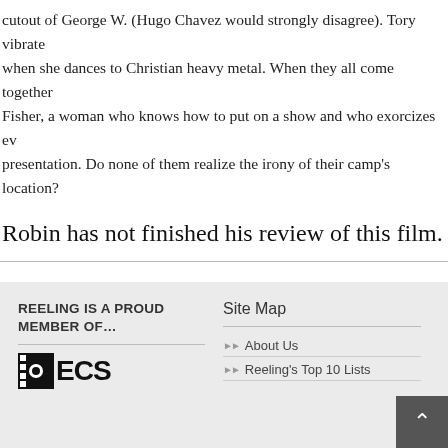cutout of George W. (Hugo Chavez would strongly disagree). Tory vibrates when she dances to Christian heavy metal. When they all come together Fisher, a woman who knows how to put on a show and who exorcizes every presentation. Do none of them realize the irony of their camp's location?
Robin has not finished his review of this film.
Robin's Review: NYR
NYR
REELING IS A PROUD MEMBER OF…
Site Map
About Us
Reeling's Top 10 Lists